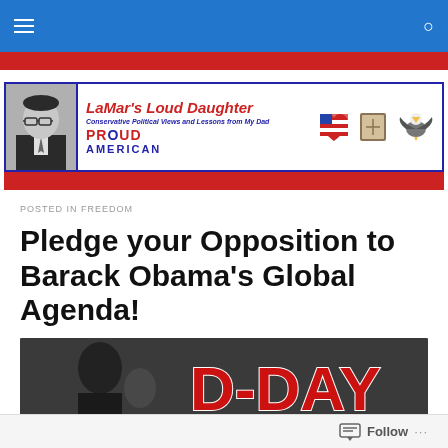[Figure (screenshot): Blue navigation bar with hamburger menu icon on left and search icon on right]
[Figure (illustration): Red textured strip banner]
[Figure (logo): LaMar's Loud Daughter blog header banner with portrait photo, blog title, subtitle 'Conservative Political Views and Lessons from My Dad', PROUD AMERICAN text, flag heart icon, Bible icon, eagle icon]
POSTED IN FREEDOM
Pledge your Opposition to Barack Obama's Global Agenda!
[Figure (photo): D-DAY image showing Barack Obama on left side with large red bold D-DAY text on dark background]
Follow